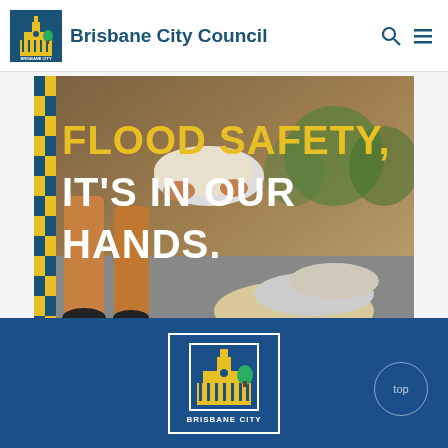Brisbane City Council
[Figure (photo): Flood safety campaign image showing a person placing sandbags, with text overlay reading 'FLOOD SAFETY, IT'S IN OUR HANDS.' Brisbane City Council branded with blue and yellow checkered border on the left.]
Brisbane City Council footer with logo